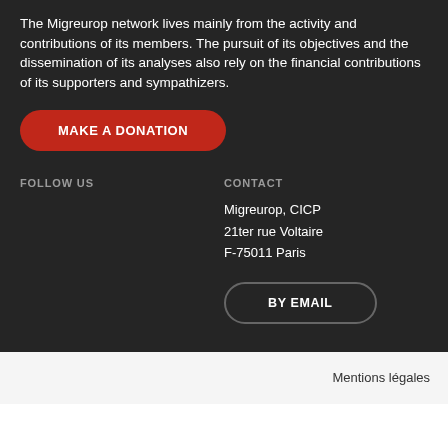The Migreurop network lives mainly from the activity and contributions of its members. The pursuit of its objectives and the dissemination of its analyses also rely on the financial contributions of its supporters and sympathizers.
MAKE A DONATION
FOLLOW US
CONTACT
Migreurop, CICP
21ter rue Voltaire
F-75011 Paris
BY EMAIL
Mentions légales